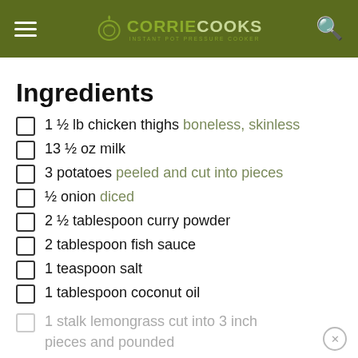CORRIE COOKS
Ingredients
1 ½ lb chicken thighs boneless, skinless
13 ½ oz milk
3 potatoes peeled and cut into pieces
½ onion diced
2 ½ tablespoon curry powder
2 tablespoon fish sauce
1 teaspoon salt
1 tablespoon coconut oil
1 stalk lemongrass cut into 3 inch pieces and pounded